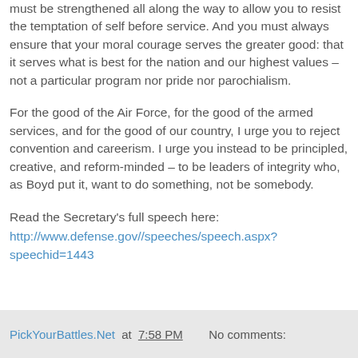must be strengthened all along the way to allow you to resist the temptation of self before service. And you must always ensure that your moral courage serves the greater good: that it serves what is best for the nation and our highest values – not a particular program nor pride nor parochialism.
For the good of the Air Force, for the good of the armed services, and for the good of our country, I urge you to reject convention and careerism. I urge you instead to be principled, creative, and reform-minded – to be leaders of integrity who, as Boyd put it, want to do something, not be somebody.
Read the Secretary's full speech here: http://www.defense.gov//speeches/speech.aspx?speechid=1443
PickYourBattles.Net at 7:58 PM   No comments: